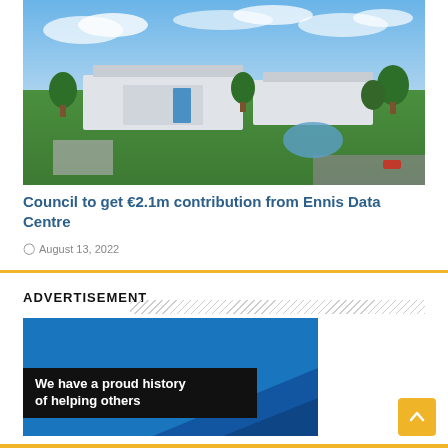[Figure (photo): Aerial rendering of the Ennis Data Centre — large modern industrial buildings surrounded by green landscaped grounds, trees, a pond, and roads under a blue sky.]
Council to get €2.1m contribution from Ennis Data Centre
August 13, 2022
ADVERTISEMENT
[Figure (illustration): Advertisement banner with a blue background and a dark overlay showing the text 'We have a proud history of helping others']